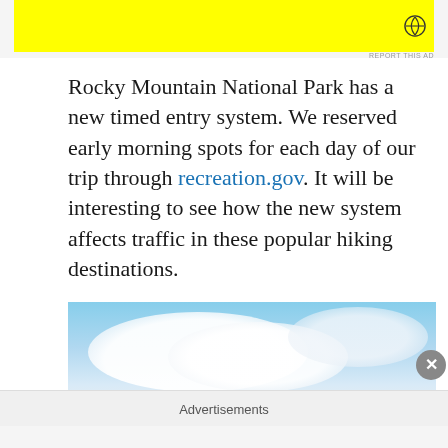[Figure (other): Yellow advertisement banner at top with circular icon/logo in upper right corner]
Rocky Mountain National Park has a new timed entry system. We reserved early morning spots for each day of our trip through recreation.gov. It will be interesting to see how the new system affects traffic in these popular hiking destinations.
[Figure (photo): Photograph of Rocky Mountain National Park showing a blue sky with large white clouds and a mountain silhouette at the bottom]
Advertisements